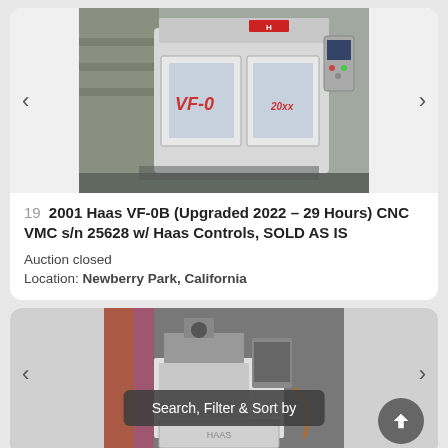[Figure (photo): Photo of a 2001 Haas VF-0B CNC Vertical Machining Center, white cabinet with Haas logo, control panel on right side, in a shop setting]
19  2001 Haas VF-0B (Upgraded 2022 – 29 Hours) CNC VMC s/n 25628 w/ Haas Controls, SOLD AS IS
Auction closed
Location: Newberry Park, California
[Figure (photo): Photo of a second piece of industrial machinery in a shop setting, partially visible]
Search, Filter & Sort by